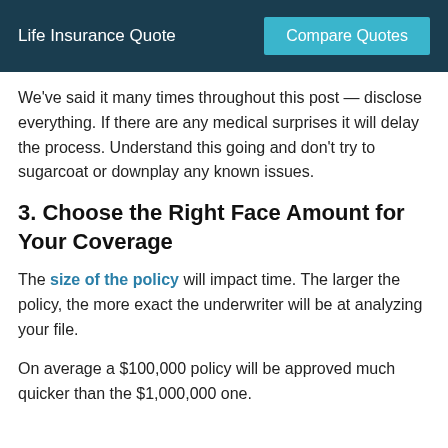Life Insurance Quote | Compare Quotes
We've said it many times throughout this post — disclose everything. If there are any medical surprises it will delay the process. Understand this going and don't try to sugarcoat or downplay any known issues.
3. Choose the Right Face Amount for Your Coverage
The size of the policy will impact time. The larger the policy, the more exact the underwriter will be at analyzing your file.
On average a $100,000 policy will be approved much quicker than the $1,000,000 one.